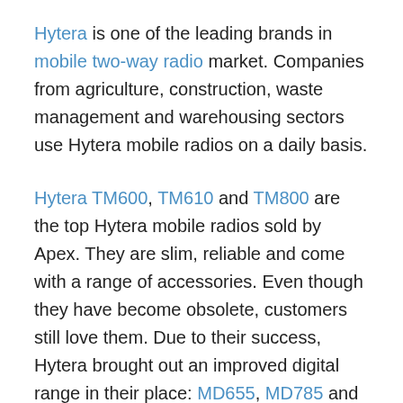Hytera is one of the leading brands in mobile two-way radio market. Companies from agriculture, construction, waste management and warehousing sectors use Hytera mobile radios on a daily basis.
Hytera TM600, TM610 and TM800 are the top Hytera mobile radios sold by Apex. They are slim, reliable and come with a range of accessories. Even though they have become obsolete, customers still love them. Due to their success, Hytera brought out an improved digital range in their place: MD655, MD785 and MD785G. All radios have a bright LED display screen, come with a fist microphone and super